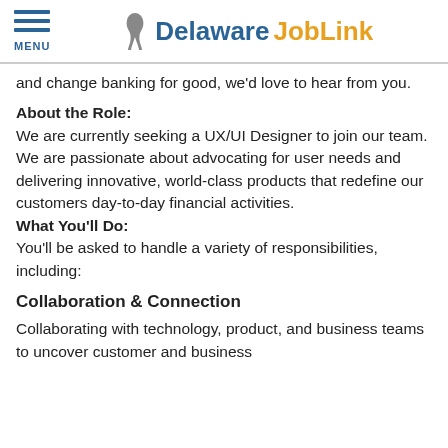MENU | Delaware JobLink
and change banking for good, we'd love to hear from you.
About the Role:
We are currently seeking a UX/UI Designer to join our team. We are passionate about advocating for user needs and delivering innovative, world-class products that redefine our customers day-to-day financial activities.
What You'll Do:
You'll be asked to handle a variety of responsibilities, including:
Collaboration & Connection
Collaborating with technology, product, and business teams to uncover customer and business